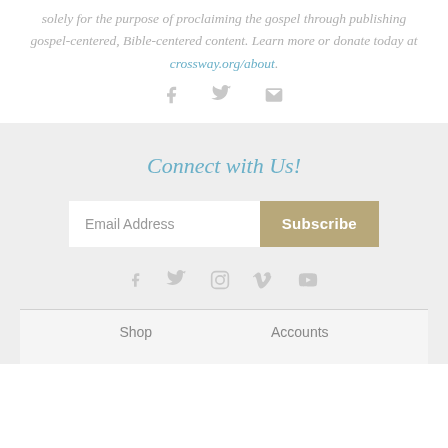solely for the purpose of proclaiming the gospel through publishing gospel-centered, Bible-centered content. Learn more or donate today at crossway.org/about.
[Figure (infographic): Three social sharing icons: Facebook (f), Twitter (bird), and Email (envelope), displayed in light gray]
Connect with Us!
[Figure (infographic): Email address input field with Subscribe button]
[Figure (infographic): Five social media icons: Facebook, Twitter, Instagram, Vimeo, YouTube displayed in light gray]
Shop
Accounts